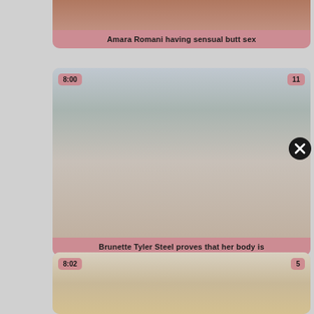[Figure (photo): Partially visible video thumbnail card at top, showing cropped image]
Amara Romani having sensual butt sex
[Figure (photo): Video thumbnail showing two people on a white couch, duration badge 8:00 and rating badge 11]
Brunette Tyler Steel proves that her body is
[Figure (photo): Video thumbnail showing blonde woman in kitchen, duration badge 8:02 and rating badge 5]